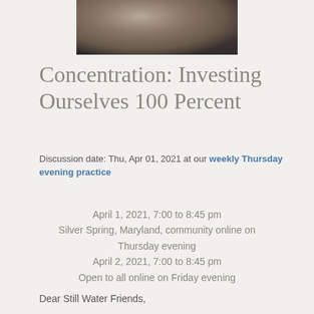[Figure (photo): Partial view of a person wearing a dark jacket, cropped photo showing upper body area]
Concentration: Investing Ourselves 100 Percent
Discussion date: Thu, Apr 01, 2021 at our weekly Thursday evening practice
April 1, 2021, 7:00 to 8:45 pm
Silver Spring, Maryland, community online on Thursday evening
April 2, 2021, 7:00 to 8:45 pm
Open to all online on Friday evening
Dear Still Water Friends,